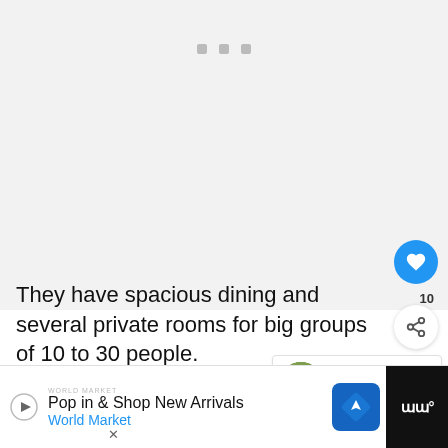[Figure (photo): Placeholder image area with three gray square dots at the top, representing a loading or empty image carousel/slideshow area with light gray background.]
They have spacious dining and several private rooms for big groups of 10 to 30 people.
It is no doubt selected as one of the Best Buffet Places In Brooklyn
[Figure (other): What's Next widget showing a thumbnail photo of a green building exterior and text: WHAT'S NEXT → 26 Best Restaurants ...]
[Figure (other): Advertisement banner: Pop in & Shop New Arrivals – World Market, with a play button, World Market logo, a blue navigation/map icon, and a dark WW+ brand block on the right with an X close button.]